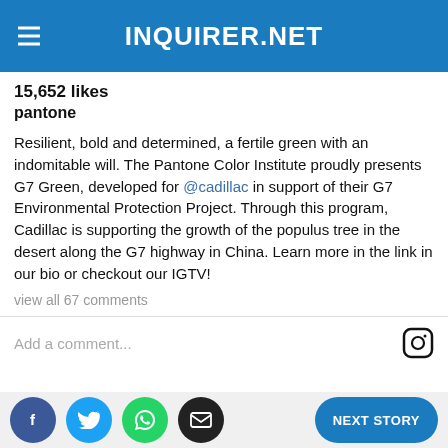INQUIRER.NET
15,652 likes
pantone
Resilient, bold and determined, a fertile green with an indomitable will. The Pantone Color Institute proudly presents G7 Green, developed for @cadillac in support of their G7 Environmental Protection Project. Through this program, Cadillac is supporting the growth of the populus tree in the desert along the G7 highway in China. Learn more in the link in our bio or checkout our IGTV!
view all 67 comments
Add a comment...
Freshome pointed out that a green shade is a likely
f  t  [whatsapp]  [email]  NEXT STORY